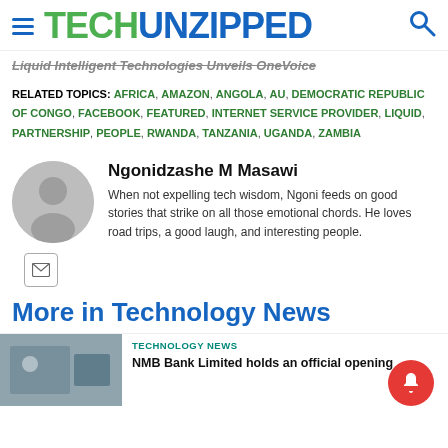TECHUNZIPPED
Liquid Intelligent Technologies Unveils OneVoice
RELATED TOPICS: AFRICA, AMAZON, ANGOLA, AU, DEMOCRATIC REPUBLIC OF CONGO, FACEBOOK, FEATURED, INTERNET SERVICE PROVIDER, LIQUID, PARTNERSHIP, PEOPLE, RWANDA, TANZANIA, UGANDA, ZAMBIA
Ngonidzashe M Masawi
When not expelling tech wisdom, Ngoni feeds on good stories that strike on all those emotional chords. He loves road trips, a good laugh, and interesting people.
More in Technology News
TECHNOLOGY NEWS
NMB Bank Limited holds an official opening